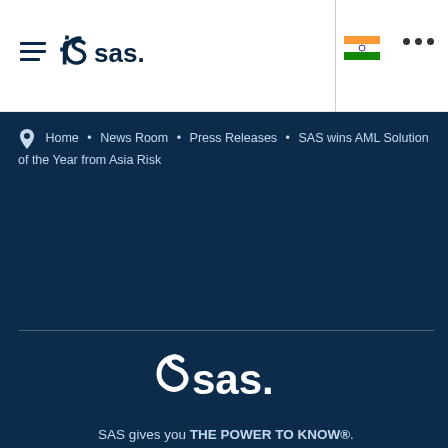[Figure (logo): SAS logo with hamburger menu in white header bar]
Home • News Room • Press Releases • SAS wins AML Solution of the Year from Asia Risk
[Figure (logo): Large SAS logo in white on dark blue background]
Curiosity is our code. SAS analytics solutions transform data into intelligence, inspiring customers around the world to make bold new discoveries that drive progress.
SAS gives you THE POWER TO KNOW®.